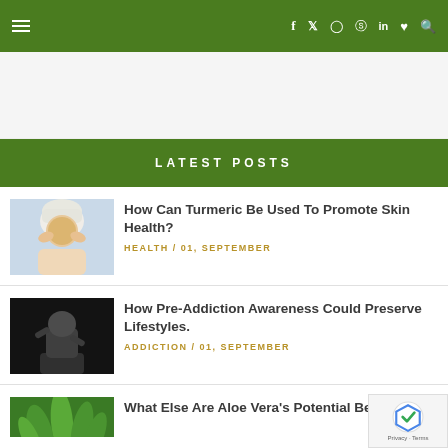Navigation bar with hamburger menu, social icons (f, Twitter, Instagram, Pinterest, LinkedIn, heart, search), green background
[Figure (other): White/gray advertisement space placeholder]
LATEST POSTS
[Figure (photo): Woman with white towel on head, applying turmeric face mask, touching her cheeks]
How Can Turmeric Be Used To Promote Skin Health?
HEALTH / 01, SEPTEMBER
[Figure (photo): Black and white photo of a person sitting hunched, holding their head, dark moody image]
How Pre-Addiction Awareness Could Preserve Lifestyles.
ADDICTION / 01, SEPTEMBER
[Figure (photo): Close-up of aloe vera green leaves/plants]
What Else Are Aloe Vera's Potential Benefits?